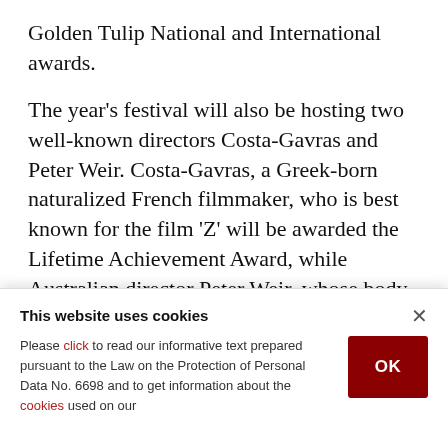Golden Tulip National and International awards.
The year's festival will also be hosting two well-known directors Costa-Gavras and Peter Weir. Costa-Gavras, a Greek-born naturalized French filmmaker, who is best known for the film 'Z' will be awarded the Lifetime Achievement Award, while Australian director Peter Weir, whose body of works includes 'Dead Poets Society' and 'Gallipoli', will not only be serving as the head of
This website uses cookies

Please click to read our informative text prepared pursuant to the Law on the Protection of Personal Data No. 6698 and to get information about the cookies used on our